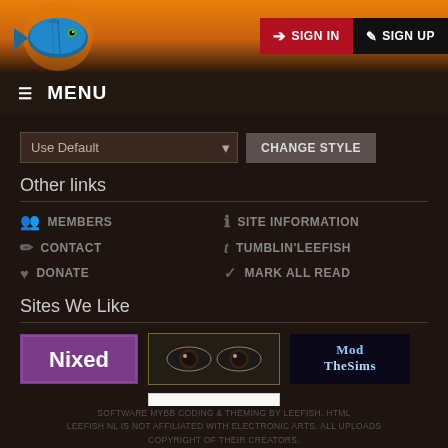SIGN IN | SIGN UP
☰ MENU
Use Default | CHANGE STYLE
Other links
MEMBERS
SITE INFORMATION
CONTACT
TUMBLIN'LEEFISH
DONATE
MARK ALL READ
Sites We Like
[Figure (logo): Nixed purple banner logo]
[Figure (photo): Banner with eyes/face image]
[Figure (logo): ModTheSims logo banner]
[Figure (logo): Sims 2 Artists logo banner]
SOFTWARE MYBB CODING & THEMING BY LEEFISH. HTML LEEFISH NL IS NOT AFFILIATED WITH ELECTRONIC ARTS. ALL UPLOADS COPYRIGHT OF THEIR CREATORS.